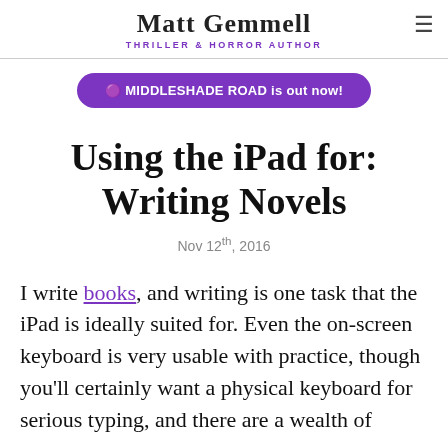Matt Gemmell
THRILLER & HORROR AUTHOR
🟣 MIDDLESHADE ROAD is out now!
Using the iPad for: Writing Novels
Nov 12th, 2016
I write books, and writing is one task that the iPad is ideally suited for. Even the on-screen keyboard is very usable with practice, though you'll certainly want a physical keyboard for serious typing, and there are a wealth of